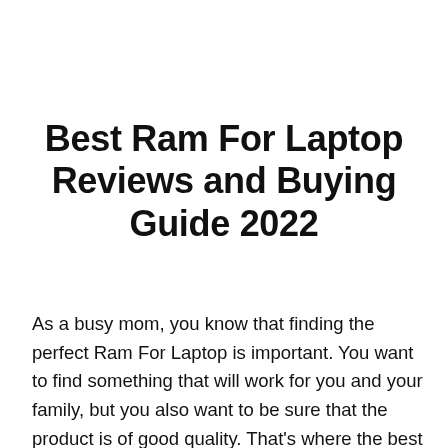Best Ram For Laptop Reviews and Buying Guide 2022
As a busy mom, you know that finding the perfect Ram For Laptop is important. You want to find something that will work for you and your family, but you also want to be sure that the product is of good quality. That's where the best product selection guide comes in. This guide will help you find the best Ram For Laptop that is both high-quality and